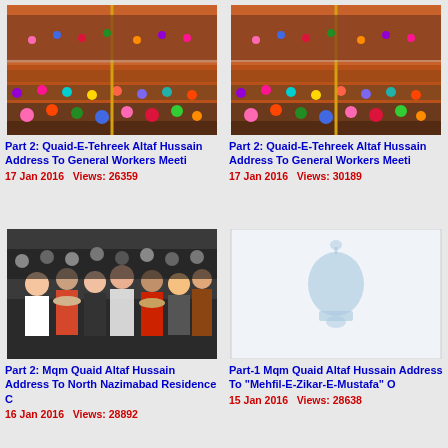[Figure (photo): Crowd of people at an indoor gathering/meeting]
Part 2: Quaid-E-Tehreek Altaf Hussain Address To General Workers Meeti
17 Jan 2016   Views: 26359
[Figure (photo): Crowd of people at an indoor gathering/meeting]
Part 2: Quaid-E-Tehreek Altaf Hussain Address To General Workers Meeti
17 Jan 2016   Views: 30189
[Figure (photo): Crowd of people at an indoor gathering/meeting]
Part 2: Mqm Quaid Altaf Hussain Address To North Nazimabad Residence C
16 Jan 2016   Views: 28892
[Figure (photo): Placeholder image with bell/notification icon]
Part-1 Mqm Quaid Altaf Hussain Address To "Mehfil-E-Zikar-E-Mustafa" O
15 Jan 2016   Views: 28638